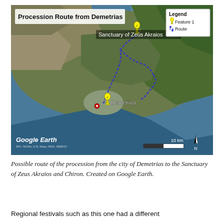[Figure (map): Google Earth satellite map showing the Procession Route from Demetrias to the Sanctuary of Zeus Akraios. A blue route line traces from Demetrias (marked with a yellow pin) northward through valleys to the Sanctuary of Zeus Akraios (also marked with a yellow pin). A red pin marks a point near Demetrias. A legend box in the upper right shows Feature 1 (yellow pin) and Route (blue dashed line). Scale bar shows 10 km. North arrow visible. Attribution: Google Earth, SIO, NOAA, U.S. Navy, NGA, GEBCO.]
Possible route of the procession from the city of Demetrias to the Sanctuary of Zeus Akraios and Chiron. Created on Google Earth.
Regional festivals such as this one had a different